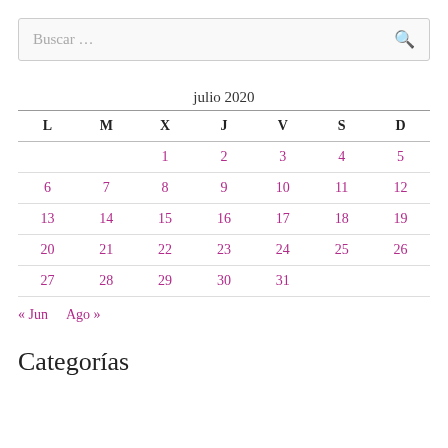Buscar …
julio 2020
| L | M | X | J | V | S | D |
| --- | --- | --- | --- | --- | --- | --- |
|  |  | 1 | 2 | 3 | 4 | 5 |
| 6 | 7 | 8 | 9 | 10 | 11 | 12 |
| 13 | 14 | 15 | 16 | 17 | 18 | 19 |
| 20 | 21 | 22 | 23 | 24 | 25 | 26 |
| 27 | 28 | 29 | 30 | 31 |  |  |
« Jun   Ago »
Categorías